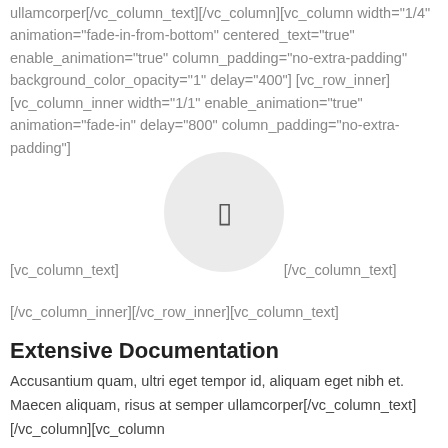ullamcorper[/vc_column_text][/vc_column][vc_column width="1/4" animation="fade-in-from-bottom" centered_text="true" enable_animation="true" column_padding="no-extra-padding" background_color_opacity="1" delay="400"][vc_row_inner][vc_column_inner width="1/1" enable_animation="true" animation="fade-in" delay="800" column_padding="no-extra-padding"]
[Figure (illustration): A light gray circle containing a small rectangle icon in the center, with code text on either side: '[vc_column_text]' on the left and '[/vc_column_text]' on the right.]
[/vc_column_inner][/vc_row_inner][vc_column_text]
Extensive Documentation
Accusantium quam, ultri eget tempor id, aliquam eget nibh et. Maecen aliquam, risus at semper ullamcorper[/vc_column_text][/vc_column][vc_column